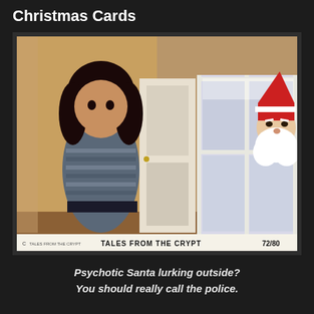Christmas Cards
[Figure (photo): A movie lobby card for 'Tales from the Crypt' (1972). A frightened woman with dark hair wearing a striped top looks toward a door. Outside a window to the right, a sinister-looking Santa Claus peers in from outside in the snow. The bottom of the card reads 'TALES FROM THE CRYPT 72/80'.]
Psychotic Santa lurking outside? You should really call the police.